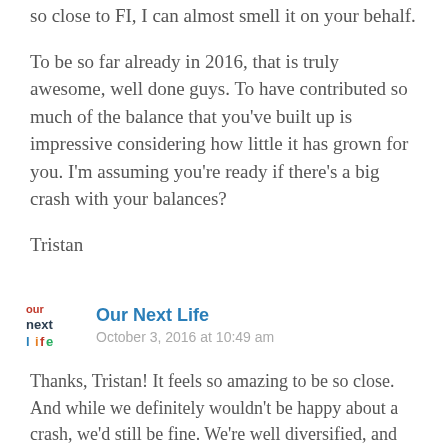so close to FI, I can almost smell it on your behalf.
To be so far already in 2016, that is truly awesome, well done guys. To have contributed so much of the balance that you've built up is impressive considering how little it has grown for you. I'm assuming you're ready if there's a big crash with your balances?
Tristan
Our Next Life
October 3, 2016 at 10:49 am
Thanks, Tristan! It feels so amazing to be so close. And while we definitely wouldn't be happy about a crash, we'd still be fine. We're well diversified, and our retirement spending plan is